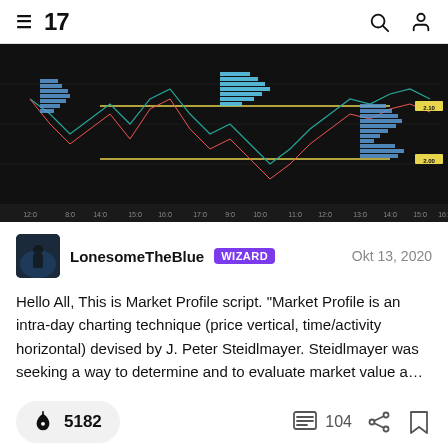TradingView header with hamburger menu, TV logo, search icon, and user icon
[Figure (screenshot): TradingView chart screenshot showing Market Profile candlestick chart with volume profile histogram bars on a dark/black background, with yellow horizontal lines and blue/cyan histogram bars on the sides]
LonesomeTheBlue WIZARD  Okt 13, 2020
Hello All, This is Market Profile script. "Market Profile is an intra-day charting technique (price vertical, time/activity horizontal) devised by J. Peter Steidlmayer. Steidlmayer was seeking a way to determine and to evaluate market value a...
🚀 5182    💬 104